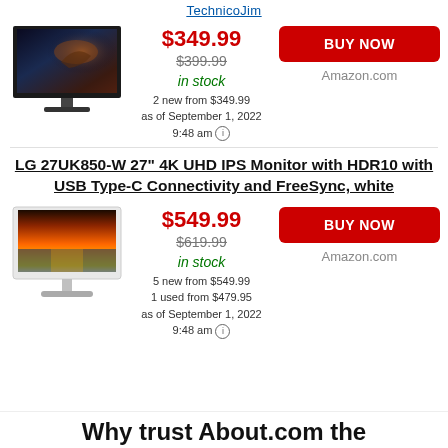TechnicoJim
[Figure (photo): LG monitor with dark gaming screen showing dragon scene]
$349.99
$399.99
in stock
2 new from $349.99
as of September 1, 2022
9:48 am
BUY NOW
Amazon.com
LG 27UK850-W 27" 4K UHD IPS Monitor with HDR10 with USB Type-C Connectivity and FreeSync, white
[Figure (photo): LG 27UK850-W white monitor with sunset/ocean screen]
$549.99
$619.99
in stock
5 new from $549.99
1 used from $479.95
as of September 1, 2022
9:48 am
BUY NOW
Amazon.com
Why trust About.com the...